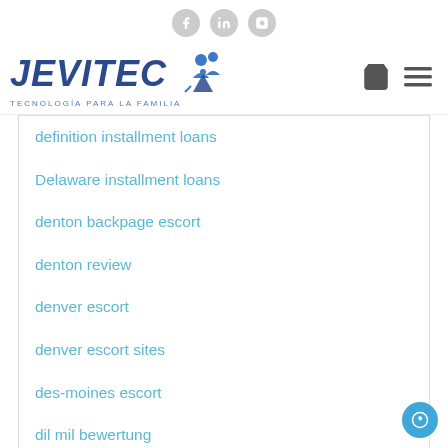JEVITEC - TECNOLOGÍA PARA LA FAMILIA
definition installment loans
Delaware installment loans
denton backpage escort
denton review
denver escort
denver escort sites
des-moines escort
dil mil bewertung